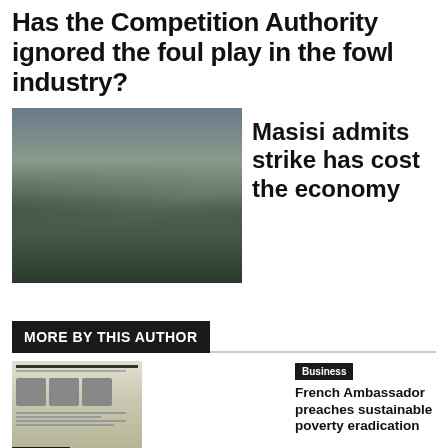Has the Competition Authority ignored the foul play in the fowl industry?
[Figure (photo): Large crowd of people gathered outdoors, with a man in a suit standing at the front left]
Masisi admits strike has cost the economy
MORE BY THIS AUTHOR
[Figure (photo): Newspaper front page showing three faces/portraits with headlines]
Newspaper
Sunday Standard
Gov't out-sourcing was not a response to 2011 strike-Makgalemele
Business
French Ambassador preaches sustainable poverty eradication